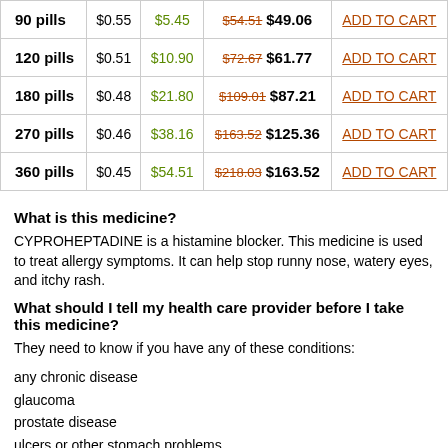| Quantity | Per pill | Savings | Price | Action |
| --- | --- | --- | --- | --- |
| 90 pills | $0.55 | $5.45 | $54.51 $49.06 | ADD TO CART |
| 120 pills | $0.51 | $10.90 | $72.67 $61.77 | ADD TO CART |
| 180 pills | $0.48 | $21.80 | $109.01 $87.21 | ADD TO CART |
| 270 pills | $0.46 | $38.16 | $163.52 $125.36 | ADD TO CART |
| 360 pills | $0.45 | $54.51 | $218.03 $163.52 | ADD TO CART |
What is this medicine?
CYPROHEPTADINE is a histamine blocker. This medicine is used to treat allergy symptoms. It can help stop runny nose, watery eyes, and itchy rash.
What should I tell my health care provider before I take this medicine?
They need to know if you have any of these conditions:
any chronic disease
glaucoma
prostate disease
ulcers or other stomach problems